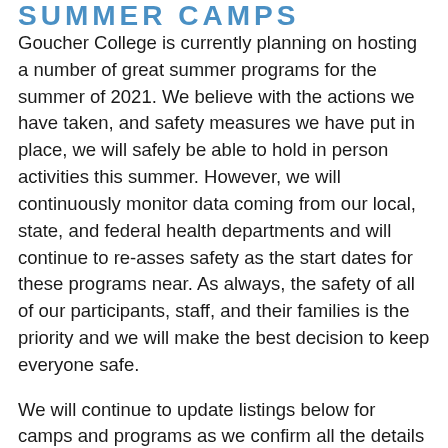SUMMER CAMPS
Goucher College is currently planning on hosting a number of great summer programs for the summer of 2021. We believe with the actions we have taken, and safety measures we have put in place, we will safely be able to hold in person activities this summer. However, we will continuously monitor data coming from our local, state, and federal health departments and will continue to re-asses safety as the start dates for these programs near. As always, the safety of all of our participants, staff, and their families is the priority and we will make the best decision to keep everyone safe.
We will continue to update listings below for camps and programs as we confirm all the details for our summer line-up. Thanks for your understanding, and take care.